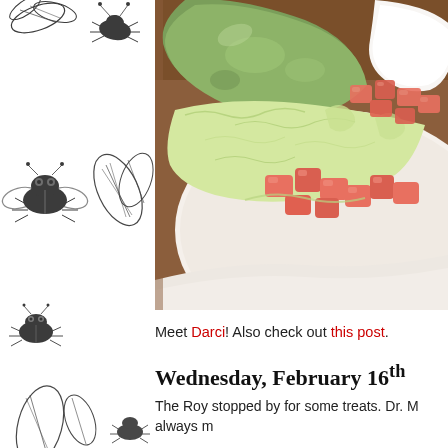[Figure (illustration): Decorative left border/sidebar with black and white illustrated bugs, insects, flies, and small creatures on white background]
[Figure (photo): Close-up photo of Mexican food on a white plate: green avocado/tomatillo sauce, shredded lettuce, sour cream, and diced tomatoes]
Meet Darci! Also check out this post.
Wednesday, February 16th
The Roy stopped by for some treats. Dr. M always m